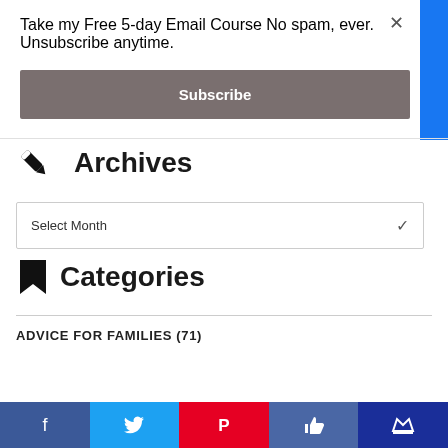Take my Free 5-day Email Course No spam, ever. Unsubscribe anytime.
Subscribe
Archives
Select Month
Categories
ADVICE FOR FAMILIES (71)
Facebook | Twitter | Pinterest | Like | Crown